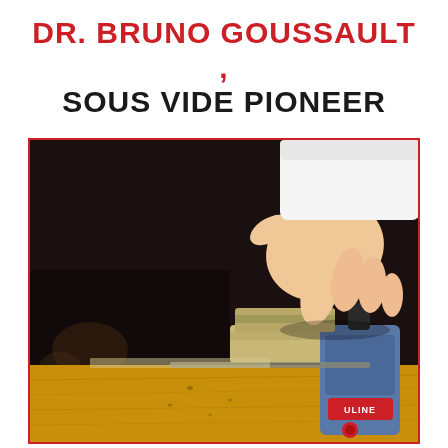DR. BRUNO GOUSSAULT, SOUS VIDE PIONEER
[Figure (photo): Close-up photograph of a person's hand pressing down on a vacuum sealer machine on a wooden table, with a dark blurred background. A blue Uline vacuum sealing device is visible on the right side.]